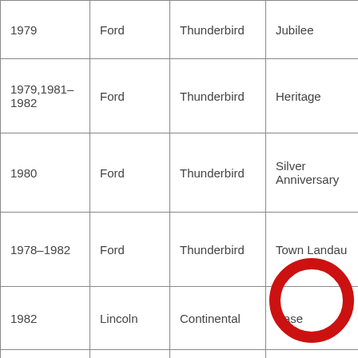| Year | Make | Model | Trim |
| --- | --- | --- | --- |
| 1979 | Ford | Thunderbird | Jubilee |
| 1979,1981-1982 | Ford | Thunderbird | Heritage |
| 1980 | Ford | Thunderbird | Silver Anniversary |
| 1978-1982 | Ford | Thunderbird | Town Landau |
| 1982 | Lincoln | Continental | Base |
| 1982 | Lincoln | Continental | Givenchy |
| 1982 | Lincoln | Continental | Signature |